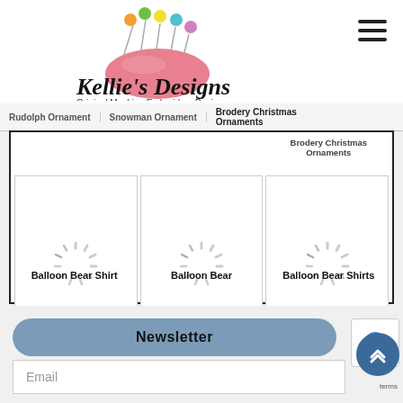[Figure (logo): Kellie's Designs logo with pincushion and sewing pins in various colors]
Kellie's Designs
Original Machine Embroidery Designs
Rudolph Ornament   Snowman Ornament   Brodery Christmas Ornaments
[Figure (photo): Loading spinner placeholder for Balloon Bear Shirt]
[Figure (photo): Loading spinner placeholder for Balloon Bear]
[Figure (photo): Loading spinner placeholder for Balloon Bear Shirts]
Balloon Bear Shirt
Balloon Bear
Balloon Bear Shirts
Newsletter
Email